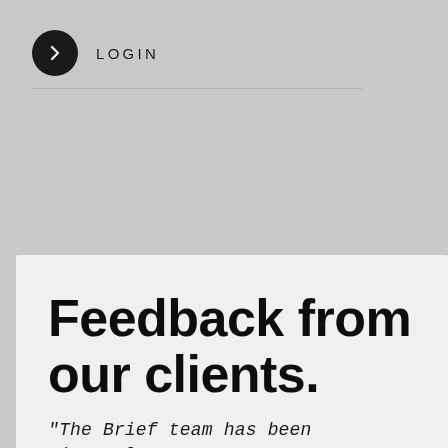[Figure (screenshot): Login button with black circle containing a right-arrow chevron icon, followed by LOGIN text in spaced capitals, with a horizontal rule below]
Feedback from our clients.
"The Brief team has been sincerely